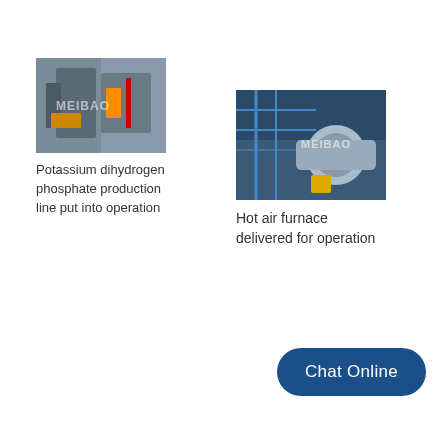[Figure (photo): Industrial equipment photo showing a potassium dihydrogen phosphate production line with MEIBAO watermark]
Potassium dihydrogen phosphate production line put into operation
[Figure (photo): Industrial hot air furnace equipment photo with blue scaffolding and MEIBAO watermark]
Hot air furnace delivered for operation
Chat Online